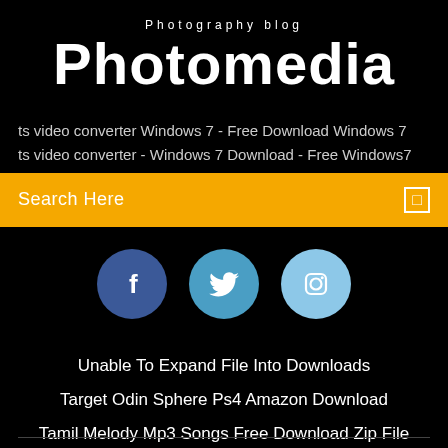Photography blog
Photomedia
ts video converter Windows 7 - Free Download Windows 7
ts video converter - Windows 7 Download - Free Windows7
Search Here
[Figure (infographic): Three social media icons in circles: Facebook (dark blue), Twitter (medium blue), Instagram (light blue)]
Unable To Expand File Into Downloads
Target Odin Sphere Ps4 Amazon Download
Tamil Melody Mp3 Songs Free Download Zip File
Re-Volt Pc Download Windows 7